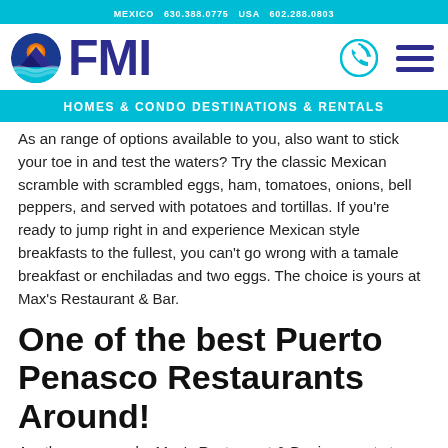MEXICO  630.388.0775  USA  602.288.0803
[Figure (logo): FMI logo with circular sun/mountain/ocean graphic and dark blue FMI text]
HOMES & CONDO DESTINATIONS & RENTALS
As an range of options available to you, also want to stick your toe in and test the waters? Try the classic Mexican scramble with scrambled eggs, ham, tomatoes, onions, bell peppers, and served with potatoes and tortillas. If you're ready to jump right in and experience Mexican style breakfasts to the fullest, you can't go wrong with a tamale breakfast or enchiladas and two eggs. The choice is yours at Max's Restaurant & Bar.
One of the best Puerto Penasco Restaurants Around!
Another reason why Max's Restaurant & Bar is a must stop while in Rocky Point is that they take full advantage of their